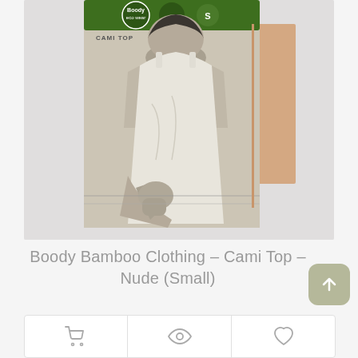[Figure (photo): Product photo of Boody Bamboo Clothing Cami Top in Nude (Small) packaging. A green-topped box showing a woman in a white cami top, with the Boody brand logo and 'CAMI TOP' label visible on the packaging.]
Boody Bamboo Clothing – Cami Top – Nude (Small)
£19.95
[Figure (other): Action bar with three icon buttons: shopping cart, eye/view, and heart/wishlist icons]